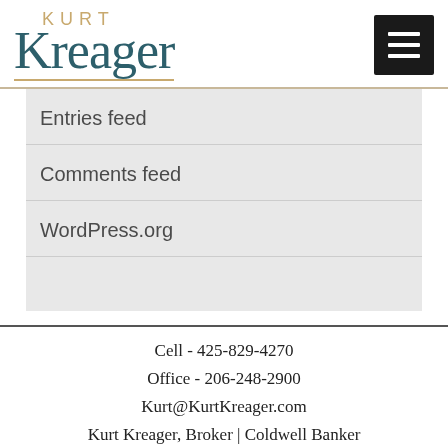[Figure (logo): Kurt Kreager logo with 'KURT' in gold and 'Kreager' in teal serif font, underlined with gold line]
Entries feed
Comments feed
WordPress.org
Cell - 425-829-4270
Office - 206-248-2900
Kurt@KurtKreager.com
Kurt Kreager, Broker | Coldwell Banker Danforth